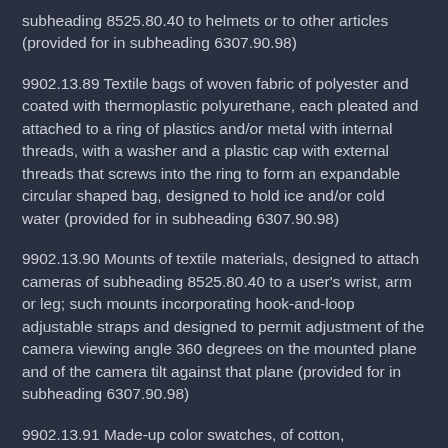subheading 8525.80.40 to helmets or to other articles (provided for in subheading 6307.90.98)
9902.13.89 Textile bags of woven fabric of polyester and coated with thermoplastic polyurethane, each pleated and attached to a ring of plastics and/or metal with internal threads, with a washer and a plastic cap with external threads that screws into the ring to form an expandable circular shaped bag, designed to hold ice and/or cold water (provided for in subheading 6307.90.98)
9902.13.90 Mounts of textile materials, designed to attach cameras of subheading 8525.80.40 to a user's wrist, arm or leg; such mounts incorporating hook-and-loop adjustable straps and designed to permit adjustment of the camera viewing angle 360 degrees on the mounted plane and of the camera tilt against that plane (provided for in subheading 6307.90.98)
9902.13.91 Made-up color swatches, of cotton, rectangular in shape and each measuring approximately 5.08 cm by 20.32 cm, with pinked edges, such swatches dyed using certified dye colors and each having a bar code to specify it